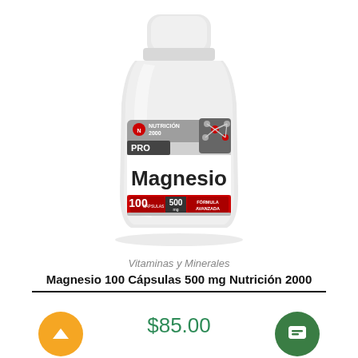[Figure (photo): White plastic supplement bottle with label reading Magnesio, Nutrición 2000 PRO, 100 cápsulas, 500 mg, Fórmula Avanzada]
Vitaminas y Minerales
Magnesio 100 Cápsulas 500 mg Nutrición 2000
$85.00